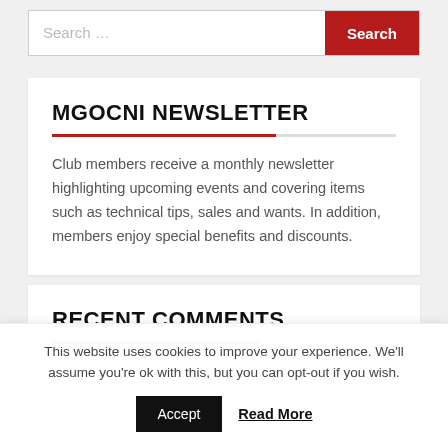[Figure (screenshot): Search bar with text input field showing placeholder 'Search ...' and a red 'Search' button on the right]
MGOCNI NEWSLETTER
Club members receive a monthly newsletter highlighting upcoming events and covering items such as technical tips, sales and wants. In addition, members enjoy special benefits and discounts.
RECENT COMMENTS
This website uses cookies to improve your experience. We'll assume you're ok with this, but you can opt-out if you wish.